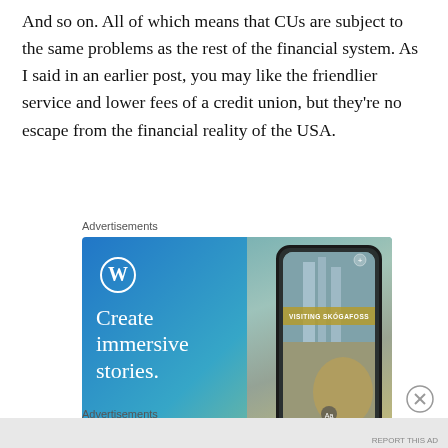And so on. All of which means that CUs are subject to the same problems as the rest of the financial system. As I said in an earlier post, you may like the friendlier service and lower fees of a credit union, but they're no escape from the financial reality of the USA.
Advertisements
[Figure (illustration): WordPress advertisement banner showing WordPress logo, text 'Create immersive stories.' on blue-green gradient background with a smartphone displaying a waterfall scene with 'VISITING SKÓGAFOSS' banner overlay.]
Advertisements